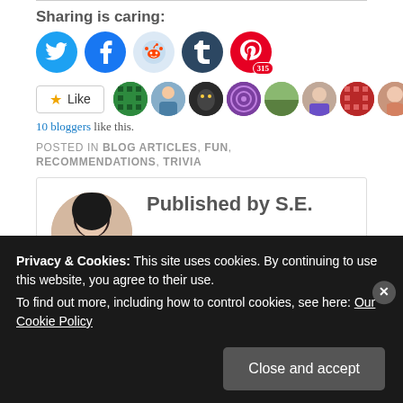Sharing is caring:
[Figure (infographic): Social sharing icons: Twitter (blue circle), Facebook (blue circle), Reddit (light blue circle), Tumblr (dark circle), Pinterest (red circle with 315 count)]
10 bloggers like this.
POSTED IN BLOG ARTICLES, FUN, RECOMMENDATIONS, TRIVIA
Published by S.E.
Privacy & Cookies: This site uses cookies. By continuing to use this website, you agree to their use. To find out more, including how to control cookies, see here: Our Cookie Policy